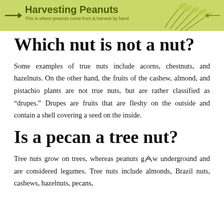[Figure (illustration): Green banner header with 'Harvesting Peanuts' title in bold olive/dark green text, subtitle 'This is where peanuts come from & harvest by hand', decorative peanut plant illustrations on the right side, and arrow on the left.]
Which nut is not a nut?
Some examples of true nuts include acorns, chestnuts, and hazelnuts. On the other hand, the fruits of the cashew, almond, and pistachio plants are not true nuts, but are rather classified as “drupes.” Drupes are fruits that are fleshy on the outside and contain a shell covering a seed on the inside.
Is a pecan a tree nut?
Tree nuts grow on trees, whereas peanuts grow underground and are considered legumes. Tree nuts include almonds, Brazil nuts, cashews, hazelnuts, pecans,